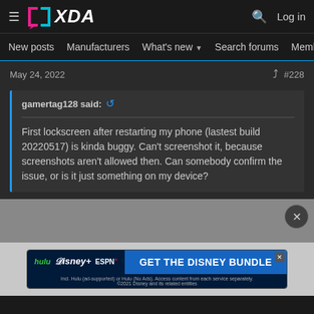XDA Forums - Navigation bar with logo, search, login, New posts, Manufacturers, What's new, Search forums, Members
May 24, 2022
#228
gamertag128 said:
First lockscreen after restarting my phone (lastest build 20220517) is kinda buggy. Can't screenshot it, because screenshots aren't allowed then. Can somebody confirm the issue, or is it just something on my device?
[Figure (screenshot): Advertisement banner for Disney Bundle showing Hulu, Disney+, and ESPN+ logos with 'GET THE DISNEY BUNDLE' call-to-action button]